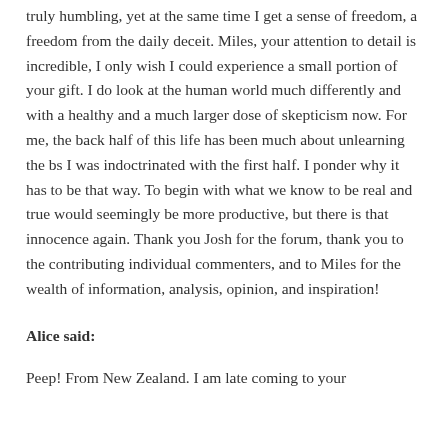truly humbling, yet at the same time I get a sense of freedom, a freedom from the daily deceit. Miles, your attention to detail is incredible, I only wish I could experience a small portion of your gift. I do look at the human world much differently and with a healthy and a much larger dose of skepticism now. For me, the back half of this life has been much about unlearning the bs I was indoctrinated with the first half. I ponder why it has to be that way. To begin with what we know to be real and true would seemingly be more productive, but there is that innocence again. Thank you Josh for the forum, thank you to the contributing individual commenters, and to Miles for the wealth of information, analysis, opinion, and inspiration!
Alice said:
Peep! From New Zealand. I am late coming to your